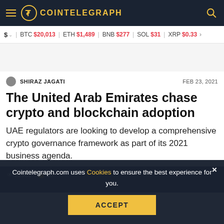COINTELEGRAPH
$ BTC $20,013 ETH $1,489 BNB $277 SOL $31 XRP $0.33
SHIRAZ JAGATI — FEB 23, 2021
The United Arab Emirates chase crypto and blockchain adoption
UAE regulators are looking to develop a comprehensive crypto governance framework as part of its 2021 business agenda.
Cointelegraph.com uses Cookies to ensure the best experience for you. ACCEPT